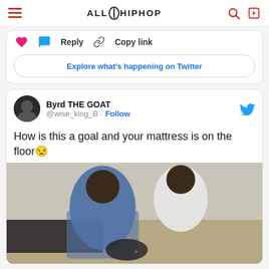ALL HIP HOP
[Figure (screenshot): Twitter/X embedded tweet widget showing heart, reply, copy link actions and Explore what's happening on Twitter button]
[Figure (screenshot): Tweet by Byrd THE GOAT (@wise_king_B) with text: How is this a goal and your mattress is on the floor, with a photo of two people sitting on a mattress on the floor playing video games]